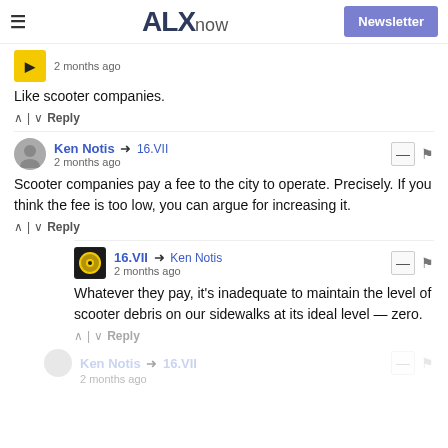ALXnow | Newsletter
2 months ago
Like scooter companies.
↑ | ↓  Reply
Ken Notis → 16.VII
2 months ago
Scooter companies pay a fee to the city to operate. Precisely. If you think the fee is too low, you can argue for increasing it.
↑ | ↓  Reply
16.VII → Ken Notis
2 months ago
Whatever they pay, it's inadequate to maintain the level of scooter debris on our sidewalks at its ideal level — zero.
↑ | ↓  Reply
Ken Notis → 16.VII
2 months ago